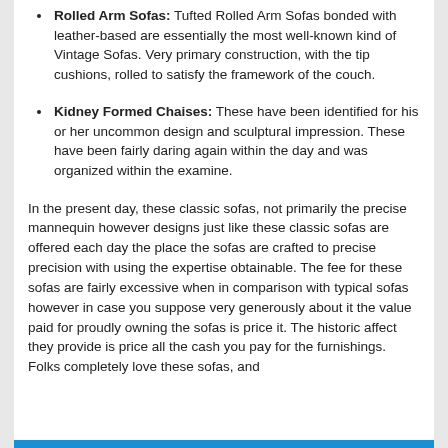Rolled Arm Sofas: Tufted Rolled Arm Sofas bonded with leather-based are essentially the most well-known kind of Vintage Sofas. Very primary construction, with the tip cushions, rolled to satisfy the framework of the couch.
Kidney Formed Chaises: These have been identified for his or her uncommon design and sculptural impression. These have been fairly daring again within the day and was organized within the examine.
In the present day, these classic sofas, not primarily the precise mannequin however designs just like these classic sofas are offered each day the place the sofas are crafted to precise precision with using the expertise obtainable. The fee for these sofas are fairly excessive when in comparison with typical sofas however in case you suppose very generously about it the value paid for proudly owning the sofas is price it. The historic affect they provide is price all the cash you pay for the furnishings. Folks completely love these sofas, and